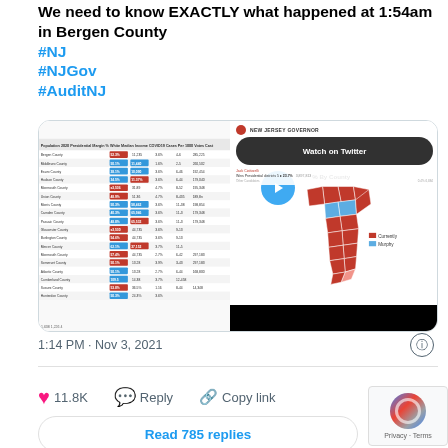We need to know EXACTLY what happened at 1:54am in Bergen County #NJ #NJGov #AuditNJ
[Figure (screenshot): Screenshot of a tweet containing a table of NJ county election data and a New Jersey governor election map with a 'Watch on Twitter' overlay and play button.]
1:14 PM · Nov 3, 2021
11.8K   Reply   Copy link
Read 785 replies